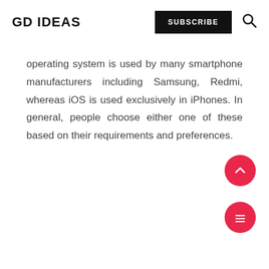GD IDEAS  SUBSCRIBE
operating system is used by many smartphone manufacturers including Samsung, Redmi, whereas iOS is used exclusively in iPhones. In general, people choose either one of these based on their requirements and preferences.
[Figure (other): Red circular scroll-to-top button with upward chevron arrow]
[Figure (other): Red circular menu button with three horizontal lines (hamburger icon)]